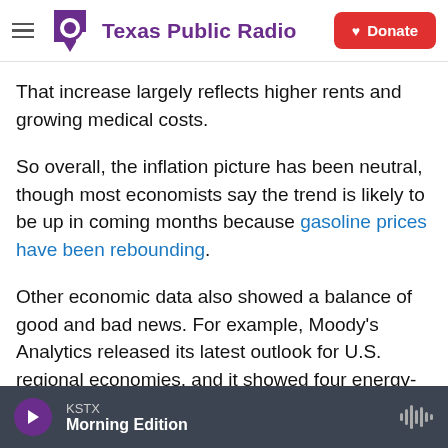Texas Public Radio — Donate
That increase largely reflects higher rents and growing medical costs.
So overall, the inflation picture has been neutral, though most economists say the trend is likely to be up in coming months because gasoline prices have been rebounding.
Other economic data also showed a balance of good and bad news. For example, Moody's Analytics released its latest outlook for U.S. regional economies, and it showed four energy-producing states — Alaska, North Dakota, West
KSTX Morning Edition